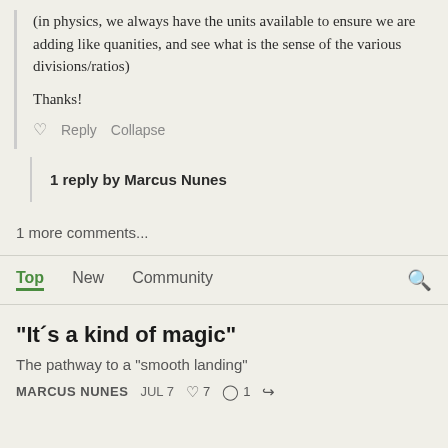(in physics, we always have the units available to ensure we are adding like quanities, and see what is the sense of the various divisions/ratios)
Thanks!
♡  Reply  Collapse
1 reply by Marcus Nunes
1 more comments...
Top  New  Community
"It´s a kind of magic"
The pathway to a "smooth landing"
MARCUS NUNES  JUL 7  ♡ 7  ○ 1  ↗